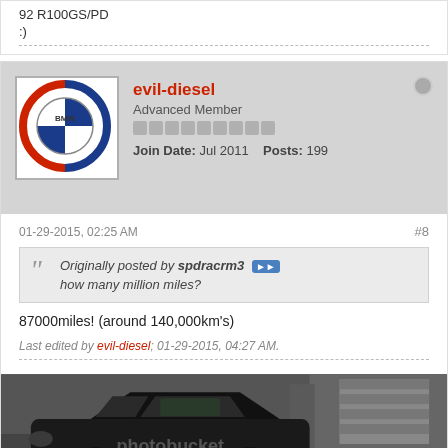92 R100GS/PD
:)
evil-diesel — Advanced Member — Join Date: Jul 2011  Posts: 199
01-29-2015, 02:25 AM  #8
Originally posted by spdracrm3
how many million miles?
87000miles! (around 140,000km's)
Last edited by evil-diesel; 01-29-2015, 04:27 AM.
[Figure (photo): Black and white photo of a BMW E30 M3 parked in front of a brick building with a garage door. Photobucket watermark visible.]